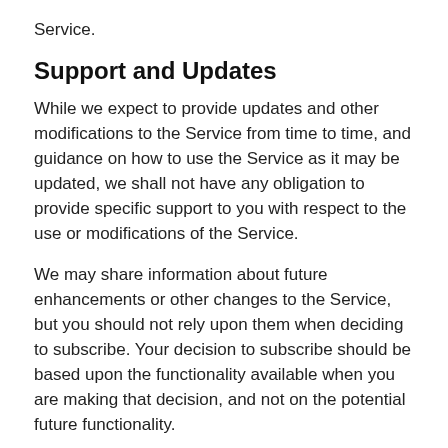Service.
Support and Updates
While we expect to provide updates and other modifications to the Service from time to time, and guidance on how to use the Service as it may be updated, we shall not have any obligation to provide specific support to you with respect to the use or modifications of the Service.
We may share information about future enhancements or other changes to the Service, but you should not rely upon them when deciding to subscribe. Your decision to subscribe should be based upon the functionality available when you are making that decision, and not on the potential future functionality.
Term and Termination
The term of your subscription and rights to use the